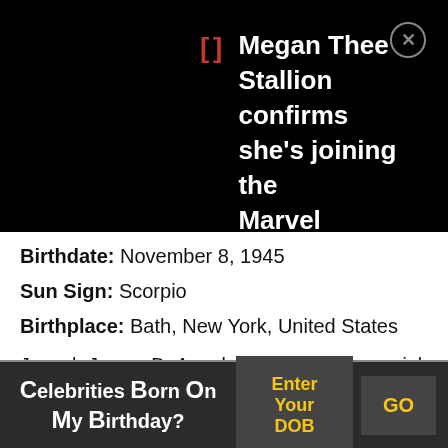[Figure (screenshot): Black banner with red bracket icon and white text: 'Megan Thee Stallion confirms she's joining the Marvel Cinematic Universe' with a circular X close button]
Birthdate: November 8, 1945
Sun Sign: Scorpio
Birthplace: Bath, New York, United States
Joseph James DeAngelo is an American serial killer, rapist and burglar who carried out his crimes for many years in 1970s and 1980s and was finally captured by the police in 2018. The former police officer and auto mechanic, who was known by various names like Golden State Killer and Visalia
Celebrities Born On My Birthday? Enter Your DOB GO